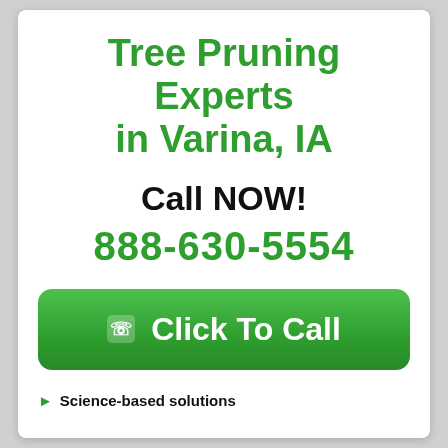Tree Pruning Experts in Varina, IA
Call NOW!
888-630-5554
☎ Click To Call
► Science-based solutions